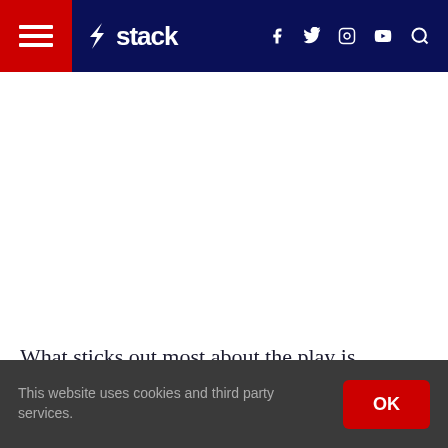Stack — navigation header with hamburger menu, Stack logo, social icons (Facebook, Twitter, Instagram, YouTube), and search icon
What sticks out most about the play is Finney's amazing effort. Many players wouldn't even make an attempt on this ball. Not only is it careening well out of bounds in the
This website uses cookies and third party services.